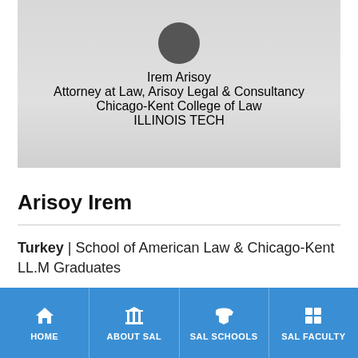[Figure (photo): Profile card with photo background showing Irem Arisoy, Attorney at Law, Arisoy Legal & Consultancy, Chicago-Kent College of Law, Illinois Tech]
Arisoy Irem
Turkey | School of American Law & Chicago-Kent LL.M Graduates
Attorney at Law, Arisoy Legal & Consultancy
HOME | ABOUT SAL | SAL SCHOOLS | SAL FACULTY